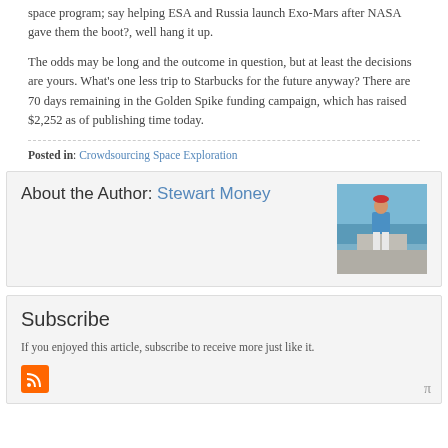space program; say helping ESA and Russia launch Exo-Mars after NASA gave them the boot?,  well hang it up.
The odds may be long and the outcome in question, but at least the decisions are yours.  What's one less trip to Starbucks for the future anyway? There are 70 days remaining in the Golden Spike funding campaign, which has raised $2,252 as of publishing time today.
Posted in: Crowdsourcing Space Exploration
About the Author: Stewart Money
[Figure (photo): Photo of Stewart Money standing outdoors near a concrete wall by the ocean, wearing a blue shirt and white shorts with a red cap.]
Subscribe
If you enjoyed this article, subscribe to receive more just like it.
[Figure (logo): RSS feed orange icon]